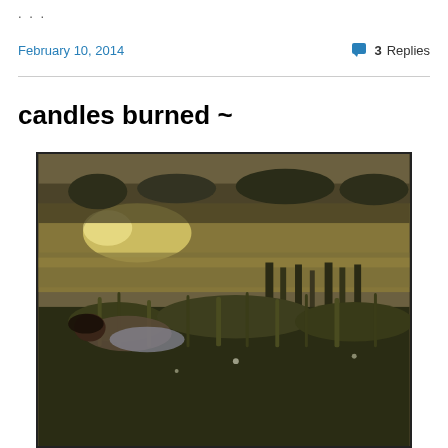. . .
February 10, 2014
3 Replies
candles burned ~
[Figure (photo): A person lying in tall grass near a wetland or marsh, with water reflecting golden sunlight in the background and dense reeds. The image has a vintage, sepia-toned quality.]